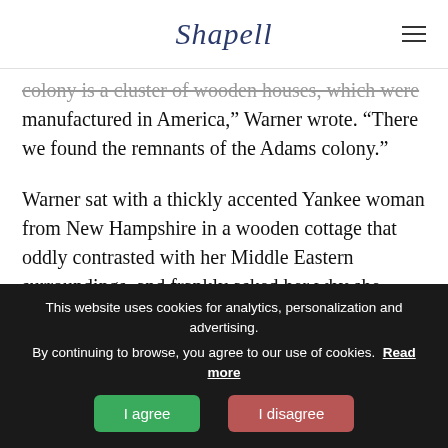Shapell
...colony is a cluster of wooden houses, which were manufactured in America,” Warner wrote. “There we found the remnants of the Adams colony.”
Warner sat with a thickly accented Yankee woman from New Hampshire in a wooden cottage that oddly contrasted with her Middle Eastern surroundings, and frankly asked her why she didn’t just go home. “Wal, sometimes I think I’d like to see the old place, but I reckon I couldn’t stand the winters. This is a nice climate, that’s all there is here,” she answered. “No, I guess I shan’t ever cross the ocean again.”
This website uses cookies for analytics, personalization and advertising. By continuing to browse, you agree to our use of cookies. Read more
I agree
I disagree